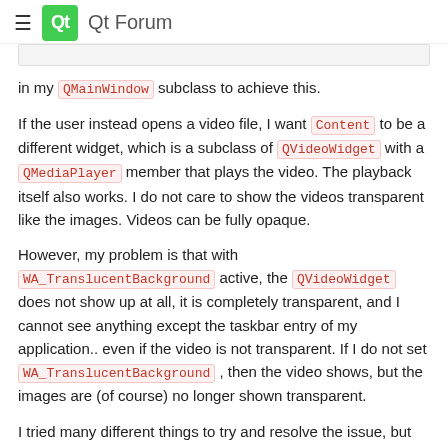Qt Forum
in my QMainWindow subclass to achieve this.
If the user instead opens a video file, I want Content to be a different widget, which is a subclass of QVideoWidget with a QMediaPlayer member that plays the video. The playback itself also works. I do not care to show the videos transparent like the images. Videos can be fully opaque.
However, my problem is that with WA_TranslucentBackground active, the QVideoWidget does not show up at all, it is completely transparent, and I cannot see anything except the taskbar entry of my application.. even if the video is not transparent. If I do not set WA_TranslucentBackground , then the video shows, but the images are (of course) no longer shown transparent.
I tried many different things to try and resolve the issue, but nothing works:
before show() / hide() call setAttribute(Qt::WA_TranslucentBackground, false); // this does not resolve this